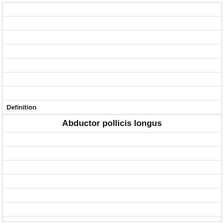|  |
|  |
|  |
|  |
|  |
|  |
|  |
| Definition |
| Abductor pollicis longus |
|  |
|  |
|  |
|  |
|  |
|  |
|  |
|  |
|  |
| Term |
| [image] |